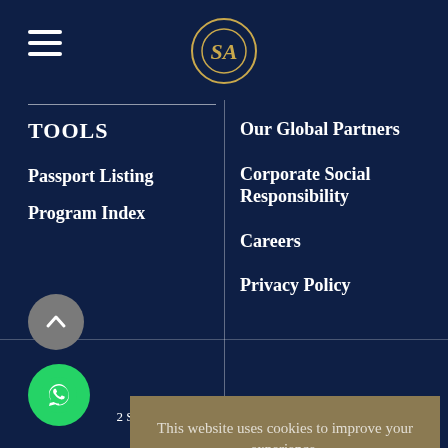[Figure (logo): Saad Ahsan Immigration Law Firm circular logo with gold border and stylized SA monogram]
TOOLS
Passport Listing
Program Index
Our Global Partners
Corporate Social Responsibility
Careers
Privacy Policy
FAQs
This website uses cookies to improve your experience.
Cookie Settings
X
2 Saad Ahsan Immigration Law Firm. All Rights Reserved